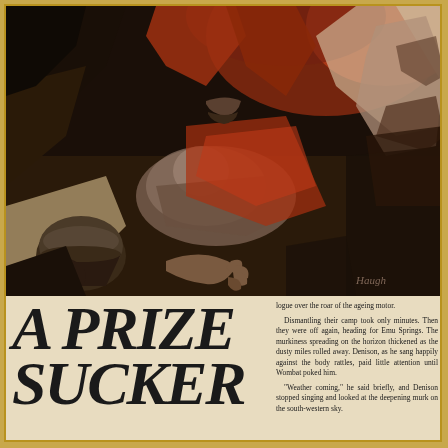[Figure (illustration): A dramatic painted illustration in dark red, brown, black and cream tones showing figures in a rocky or cave-like setting. A crouching figure is visible along with a reaching hand, pottery vessel, and another standing figure. Artist signature visible at lower right.]
A PRIZE SUCKER
logue over the roar of the ageing motor.

Dismantling their camp took only minutes. Then they were off again, heading for Emu Springs. The murkiness spreading on the horizon thickened as the dusty miles rolled away. Denison, as he sang happily against the body rattles, paid little attention until Wombat poked him.

"Weather coming," he said briefly, and Denison stopped singing and looked at the deepening murk on the south-western sky.